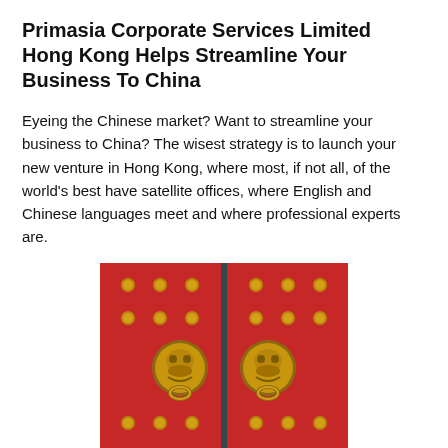Primasia Corporate Services Limited Hong Kong Helps Streamline Your Business To China
Eyeing the Chinese market? Want to streamline your business to China? The wisest strategy is to launch your new venture in Hong Kong, where most, if not all, of the world’s best have satellite offices, where English and Chinese languages meet and where professional experts are.
[Figure (photo): A pair of traditional Chinese red doors with ornate golden lion head door knockers and decorative golden studs arranged in a grid pattern on both door panels, with a vertical metal bar in the center.]